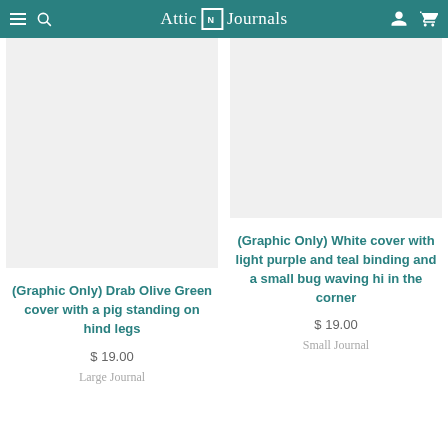Attic N Journals
(Graphic Only) Drab Olive Green cover with a pig standing on hind legs
$ 19.00
Large Journal
(Graphic Only) White cover with light purple and teal binding and a small bug waving hi in the corner
$ 19.00
Small Journal